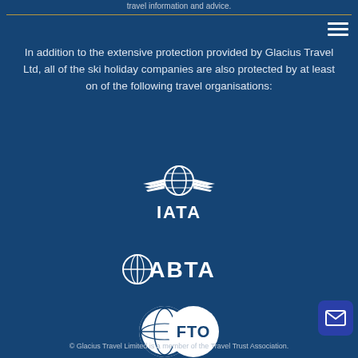travel information and advice.
In addition to the extensive protection provided by Glacius Travel Ltd, all of the ski holiday companies are also protected by at least on of the following travel organisations:
[Figure (logo): IATA logo - globe with wings and text IATA below]
[Figure (logo): ABTA logo - globe half with ABTA text]
[Figure (logo): FTO logo - two overlapping circles with globe and FTO text]
© Glacius Travel Limited is a member of the Travel Trust Association.